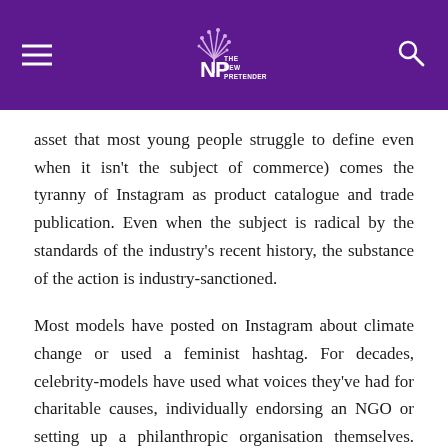The New Pretender
asset that most young people struggle to define even when it isn't the subject of commerce) comes the tyranny of Instagram as product catalogue and trade publication. Even when the subject is radical by the standards of the industry's recent history, the substance of the action is industry-sanctioned.
Most models have posted on Instagram about climate change or used a feminist hashtag. For decades, celebrity-models have used what voices they've had for charitable causes, individually endorsing an NGO or setting up a philanthropic organisation themselves. Doing so is much like any other modelling job, persuading an audience to purchase perfume or shoes or turn off their electricity for an hour. Whereas celebrity-models of the pre-Internet era formally represented large NGOs in campaigns and collaborated on charitable,